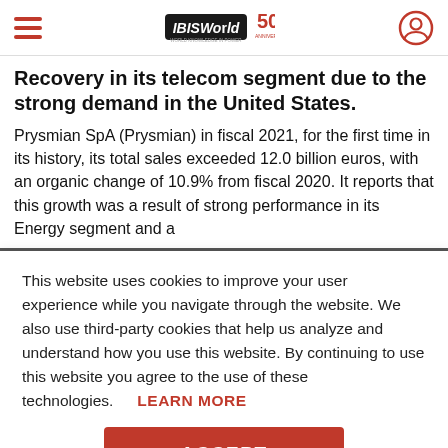IBISWorld 50th Anniversary
Recovery in its telecom segment due to the strong demand in the United States.
Prysmian SpA (Prysmian) in fiscal 2021, for the first time in its history, its total sales exceeded 12.0 billion euros, with an organic change of 10.9% from fiscal 2020. It reports that this growth was a result of strong performance in its Energy segment and a
This website uses cookies to improve your user experience while you navigate through the website. We also use third-party cookies that help us analyze and understand how you use this website. By continuing to use this website you agree to the use of these technologies. LEARN MORE
ACCEPT